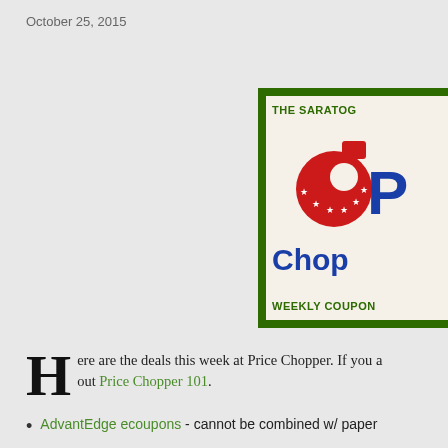October 25, 2015
[Figure (logo): Price Chopper Weekly Coupon logo with green border, red axe/chopper graphic, and blue 'Price Chopper' text on cream background. Top text reads 'THE SARATO...' and bottom reads 'WEEKLY COUPO...']
Here are the deals this week at Price Chopper. If you are new, check out Price Chopper 101.
AdvantEdge ecoupons - cannot be combined w/ paper...